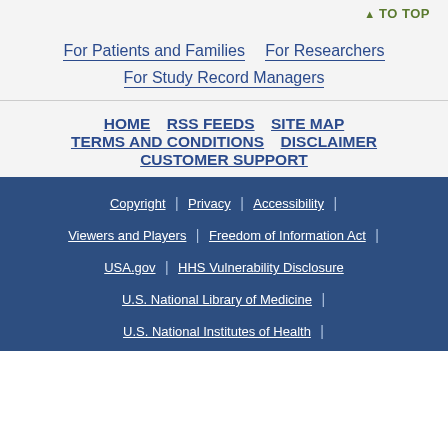TO TOP
For Patients and Families
For Researchers
For Study Record Managers
HOME
RSS FEEDS
SITE MAP
TERMS AND CONDITIONS
DISCLAIMER
CUSTOMER SUPPORT
Copyright | Privacy | Accessibility | Viewers and Players | Freedom of Information Act | USA.gov | HHS Vulnerability Disclosure | U.S. National Library of Medicine | U.S. National Institutes of Health